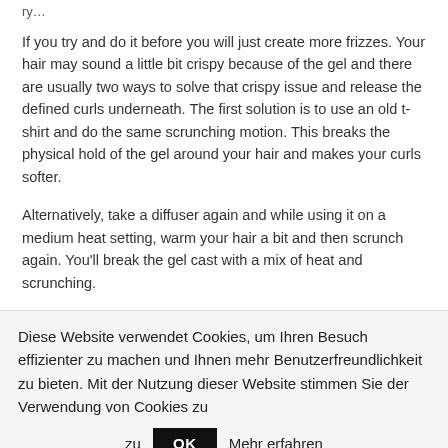ry…
If you try and do it before you will just create more frizzes. Your hair may sound a little bit crispy because of the gel and there are usually two ways to solve that crispy issue and release the defined curls underneath. The first solution is to use an old t-shirt and do the same scrunching motion. This breaks the physical hold of the gel around your hair and makes your curls softer.
Alternatively, take a diffuser again and while using it on a medium heat setting, warm your hair a bit and then scrunch again. You'll break the gel cast with a mix of heat and scrunching.
TAME FLYAWAYS
Diese Website verwendet Cookies, um Ihren Besuch effizienter zu machen und Ihnen mehr Benutzerfreundlichkeit zu bieten. Mit der Nutzung dieser Website stimmen Sie der Verwendung von Cookies zu
OK
Mehr erfahren